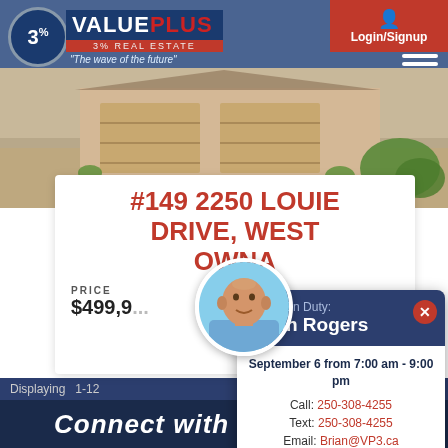[Figure (logo): 3% ValuePlus Real Estate logo with tagline 'The wave of the future']
Login/Signup
[Figure (photo): Exterior photo of a house/garage]
#149 2250 LOUIE DRIVE, WEST OWNA
PRICE: $499,99...
[Figure (photo): Headshot of Brian Rogers, agent on duty]
Agent On Duty: Brian Rogers
September 6 from 7:00 am - 9:00 pm
Call: 250-308-4255
Text: 250-308-4255
Email: Brian@VP3.ca
Displaying  1-12
Connect with the VP3 Team